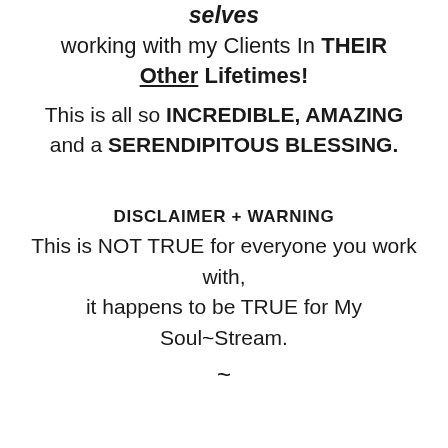selves
working with my Clients In THEIR Other Lifetimes!
This is all so INCREDIBLE, AMAZING and a SERENDIPITOUS BLESSING.
DISCLAIMER + WARNING
This is NOT TRUE for everyone you work with, it happens to be TRUE for My Soul~Stream.
~